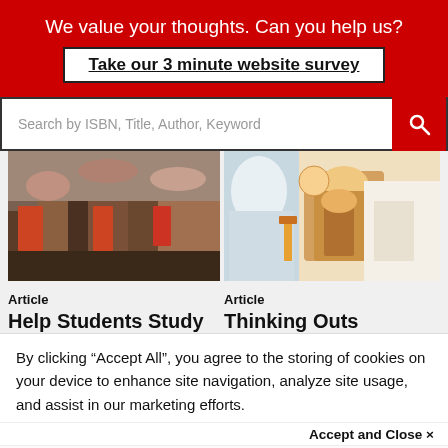We value your thoughts. Can you help us?
Take our 3 minute website survey
Search by ISBN, Title, Author, Keyword
[Figure (photo): Students sitting around a table in a classroom or study area, viewed from waist down]
Article
Help Students Study
[Figure (photo): Person in a lab coat and safety goggles working with laboratory equipment]
Article
Thinking Outs
By clicking “Accept All”, you agree to the storing of cookies on your device to enhance site navigation, analyze site usage, and assist in our marketing efforts.
Accept and Close ×
Your browser settings do not allow cross-site tracking for advertising. Click on this page to allow AdRoll to use cross-site tracking to tailor ads to you. Learn more or opt out of this AdRoll tracking by clicking here. This message only appears once.